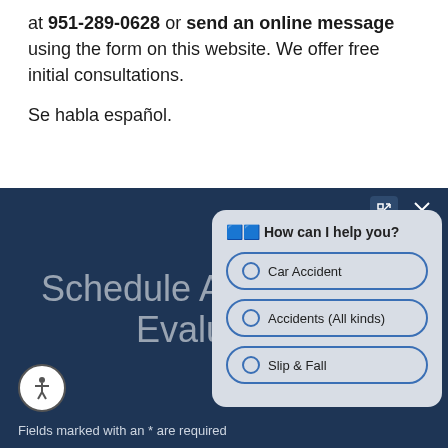at 951-289-0628 or send an online message using the form on this website. We offer free initial consultations.
Se habla español.
[Figure (screenshot): Dark blue section with chat widget overlay. Chat widget shows 'How can I help you?' with three options: Car Accident, Accidents (All kinds), Slip & Fall. Background text reads 'Schedule A Free Case Evaluation'. Accessibility icon bottom left. Text at bottom: 'Fields marked with an * are required'.]